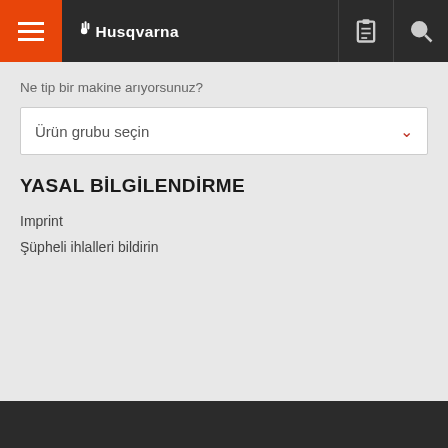[Figure (screenshot): Husqvarna website header with orange menu button, Husqvarna logo, and icons]
Ne tip bir makine arıyorsunuz?
Ürün grubu seçin
YASAL BİLGİLENDİRME
Imprint
Şüpheli ihlalleri bildirin